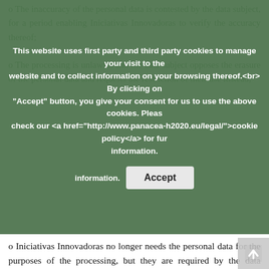o The inaccuracy of the personal data is contested by the data subject, for a period enabling Iniciativas Innovadoras to verify the accuracy thereof;
o The processing is unlawful and the data subject opposes the erasure of the personal data and requests the restriction of their use instead;
[Figure (other): Cookie consent overlay banner with text: 'This website uses first party and third party cookies to manage your visit to the website and to collect information on your browsing thereof.<br> By clicking on "Accept" button, you give your consent for us to use the above cookies. Please check our <a href="http://www.panacea-h2020.eu/legal/">cookie policy</a> for further information.' and an Accept button.]
o Iniciativas Innovadoras no longer needs the personal data for the purposes of the processing, but they are required by the data subject for the establishment, exercise or defence of legal claims;
o The data subject has objected to processing, pending the verification whether the legitimate grounds of Iniciativas Innovadoras override those of the data subject.
• The right to receive the personal data concerning him or her in a structured, commonly used and machine-readable format, and the right to transmit those data to another